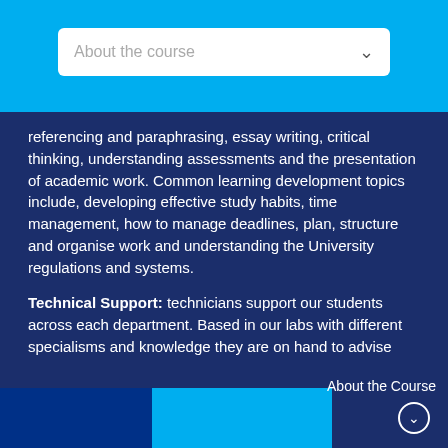About the course
referencing and paraphrasing, essay writing, critical thinking, understanding assessments and the presentation of academic work. Common learning development topics include, developing effective study habits, time management, how to manage deadlines, plan, structure and organise work and understanding the University regulations and systems.
Technical Support: technicians support our students across each department. Based in our labs with different specialisms and knowledge they are on hand to advise and guide, students can access our technician's expertise during lectures and seminars as well as during self-study. A technical Helpdesk is also available to all students within the
About the Course